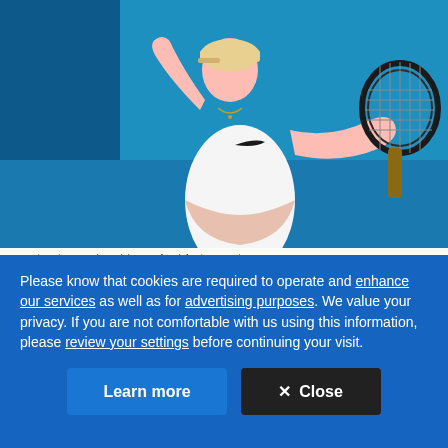[Figure (photo): A female tennis player in a white Nike outfit celebrating on a blue hard court, holding a tennis racket in her right hand and pumping her left fist in the air.]
Romanian Simona Halep celebrates after defeating Estonian...
Please know that cookies are required to operate and enhance our services as well as for advertising purposes. We value your privacy. If you are not comfortable with us using this information, please review your settings before continuing your visit.